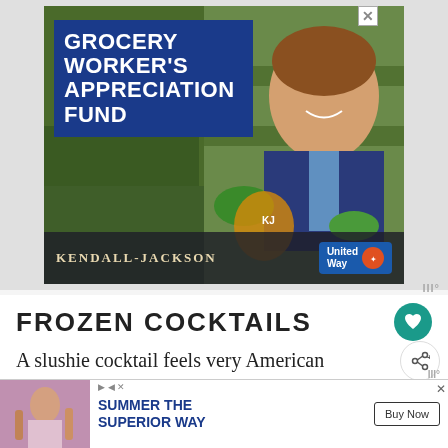[Figure (photo): Advertisement banner for Kendall-Jackson Grocery Worker's Appreciation Fund in partnership with United Way, showing a smiling grocery worker in produce section]
FROZEN COCKTAILS
A slushie cocktail feels very American to me. Its impossible to go out in New Orleans or
[Figure (photo): Advertisement banner reading SUMMER THE SUPERIOR WAY with Buy Now button, showing person with drinks]